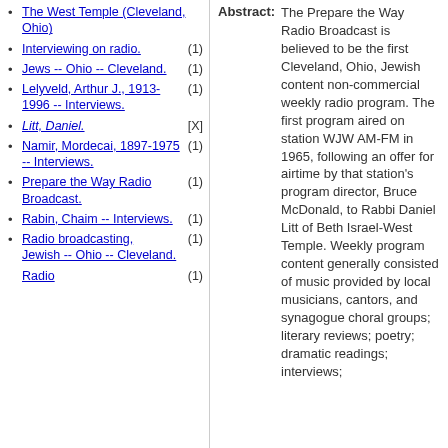The West Temple (Cleveland, Ohio)
Interviewing on radio. (1)
Jews -- Ohio -- Cleveland. (1)
Lelyveld, Arthur J., 1913-1996 -- Interviews. (1)
Litt, Daniel. [X]
Namir, Mordecai, 1897-1975 -- Interviews. (1)
Prepare the Way Radio Broadcast. (1)
Rabin, Chaim -- Interviews. (1)
Radio broadcasting, Jewish -- Ohio -- Cleveland. (1)
Radio (1)
Abstract: The Prepare the Way Radio Broadcast is believed to be the first Cleveland, Ohio, Jewish content non-commercial weekly radio program. The first program aired on station WJW AM-FM in 1965, following an offer for airtime by that station's program director, Bruce McDonald, to Rabbi Daniel Litt of Beth Israel-West Temple. Weekly program content generally consisted of music provided by local musicians, cantors, and synagogue choral groups; literary reviews; poetry; dramatic readings; interviews;